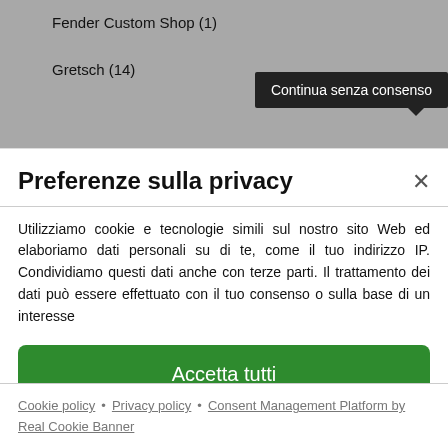Fender Custom Shop (1)
Gretsch (14)
Continua senza consenso
Preferenze sulla privacy
Utilizziamo cookie e tecnologie simili sul nostro sito Web ed elaboriamo dati personali su di te, come il tuo indirizzo IP. Condividiamo questi dati anche con terze parti. Il trattamento dei dati può essere effetuato con il tuo consenso o sulla base di un interesse
Accetta tutti
Continua senza consenso
Preferenze sulla privacy individuali
Cookie policy • Privacy policy • Consent Management Platform by Real Cookie Banner